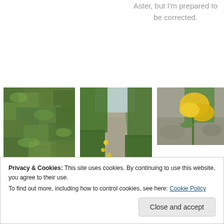Aster, but I'm prepared to be corrected.
[Figure (photo): Close-up photo of dense green foliage, Clethra alnifolia (Sweetpepperbush)]
Clethra alnifolia, or Sweetpepperbush, is common here.
[Figure (photo): Photo of a path flanked by green shrubs with yellow wildflowers along the side]
Like the asters,
[Figure (photo): Close-up photo of yellow goldenrod flowers against blurred rocky background]
When I was searching for what kind, I found a blog post where someone had
Privacy & Cookies: This site uses cookies. By continuing to use this website, you agree to their use.
To find out more, including how to control cookies, see here: Cookie Policy